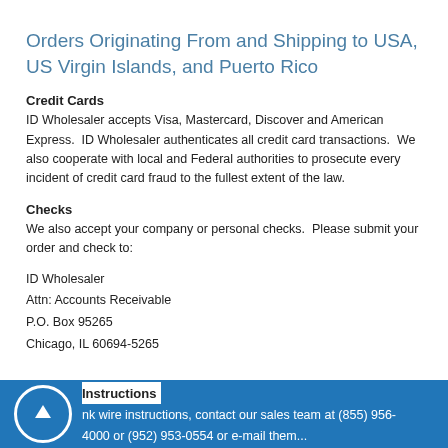Orders Originating From and Shipping to USA, US Virgin Islands, and Puerto Rico
Credit Cards
ID Wholesaler accepts Visa, Mastercard, Discover and American Express. ID Wholesaler authenticates all credit card transactions. We also cooperate with local and Federal authorities to prosecute every incident of credit card fraud to the fullest extent of the law.
Checks
We also accept your company or personal checks. Please submit your order and check to:
ID Wholesaler
Attn: Accounts Receivable
P.O. Box 95265
Chicago, IL 60694-5265
Instructions
nk wire instructions, contact our sales team at (855) 956-4000 or (952) 953-0554 or e-mail them...